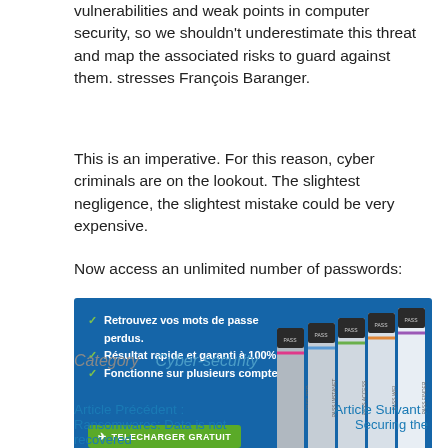vulnerabilities and weak points in computer security, so we shouldn't underestimate this threat and map the associated risks to guard against them. stresses François Baranger.
This is an imperative. For this reason, cyber criminals are on the lookout. The slightest negligence, the slightest mistake could be very expensive.
Now access an unlimited number of passwords:
[Figure (infographic): Advertisement banner with blue background showing password recovery software. Left side has checklist: 'Retrouvez vos mots de passe perdus.', 'Résultat rapide et garanti à 100%.', 'Fonctionne sur plusieurs comptes.' with a green 'TELECHARGER GRATUIT' download button. Right side shows multiple software box product images fanned out.]
Category   Cyber-security
Article Précédent :                    Article Suivant :
Ransomwares: Data is not recovered  Securing the